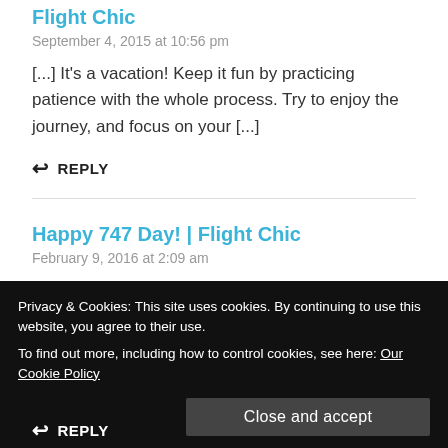Flight Chic
September 4, 2015 at 10:56 pm
[...] It's a vacation! Keep it fun by practicing patience with the whole process. Try to enjoy the journey, and focus on your [...]
↩ REPLY
Happy 747 Day! | Flight Chic
February 9, 2016 at 2:09 am
Privacy & Cookies: This site uses cookies. By continuing to use this website, you agree to their use.
To find out more, including how to control cookies, see here: Our Cookie Policy
↩ REPLY